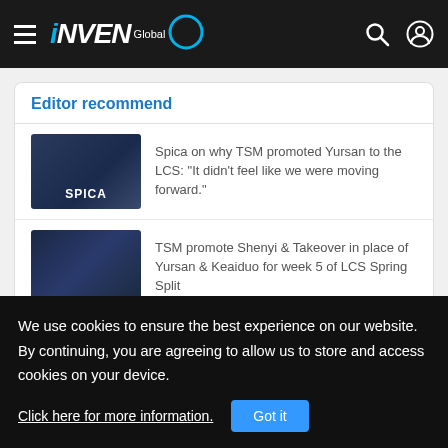INVEN Global
Editor recommend
Spica on why TSM promoted Yursan to the LCS: "It didn't feel like we were moving forward."
TSM promote Shenyi & Takeover in place of Yursan & Keaiduo for week 5 of LCS Spring Split
Since week 5 of the Spring Split, Keaiduo has been on TSM
We use cookies to ensure the best experience on our website. By continuing, you are agreeing to allow us to store and access cookies on your device.
Click here for more information.
Got it